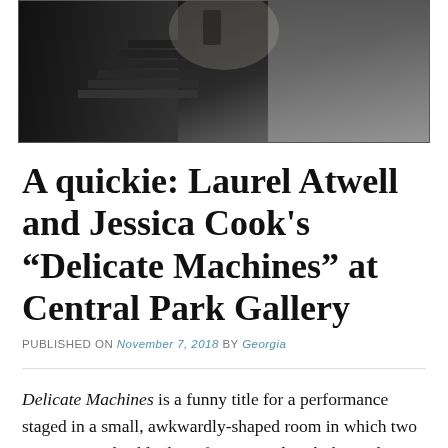[Figure (photo): Dark photograph of a staircase in a dimly lit stone corridor, with a figure visible at the top of the stairs]
A quickie: Laurel Atwell and Jessica Cook's “Delicate Machines” at Central Park Gallery
PUBLISHED ON November 7, 2018 by Georgia
Delicate Machines is a funny title for a performance staged in a small, awkwardly-shaped room in which two women in color-block outfits primarily rub themselves across a dirty floor while making